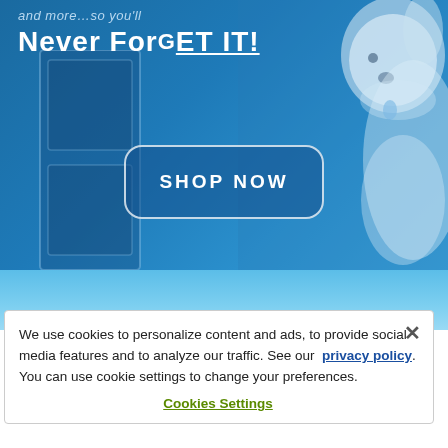[Figure (screenshot): Hero banner with blue background and a fluffy white dog on the right side. Text overlay reads 'and more...so you'll' and 'Never ForGET IT!' in bold white. A 'SHOP NOW' button is centered on the image. Below is a lighter blue band transitioning to the cookie banner.]
We use cookies to personalize content and ads, to provide social media features and to analyze our traffic. See our privacy policy. You can use cookie settings to change your preferences.
Cookies Settings